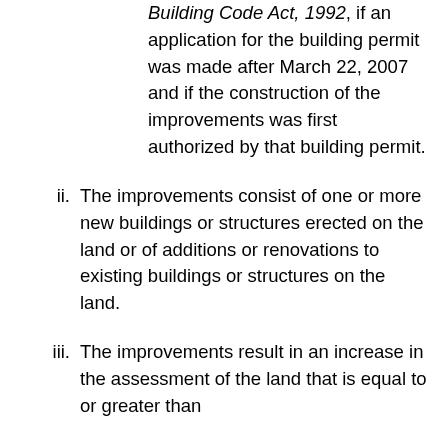Building Code Act, 1992, if an application for the building permit was made after March 22, 2007 and if the construction of the improvements was first authorized by that building permit.
ii. The improvements consist of one or more new buildings or structures erected on the land or of additions or renovations to existing buildings or structures on the land.
iii. The improvements result in an increase in the assessment of the land that is equal to or greater than